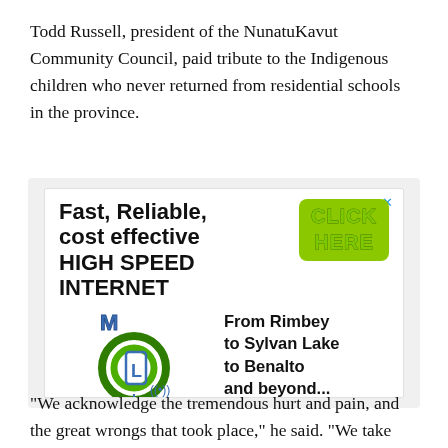Todd Russell, president of the NunatuKavut Community Council, paid tribute to the Indigenous children who never returned from residential schools in the province.
[Figure (illustration): Advertisement for Missing Link Internet showing bold text 'Fast, Reliable, cost effective HIGH SPEED INTERNET' with a green CLICK HERE button, a green chain-link style logo with M, L, I letters, and text 'From Rimbey to Sylvan Lake to Benalto and beyond...' with company name MISSING LINK INTERNET below the logo.]
"We acknowledge the tremendous hurt and pain, and the great wrongs that took place," he said. "We take time today